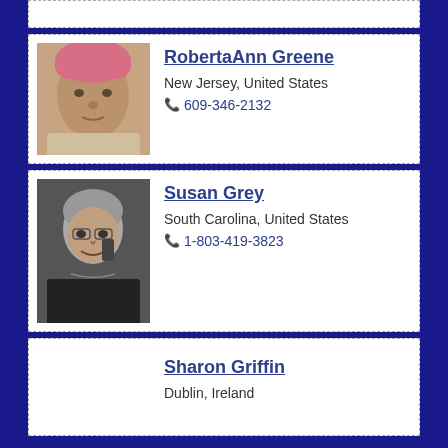[Figure (photo): Profile card for RobertaAnn Greene with photo of a woman with pink headwrap]
RobertaAnn Greene
New Jersey, United States
609-346-2132
[Figure (photo): Profile card for Susan Grey with black-and-white photo of a woman on phone]
Susan Grey
South Carolina, United States
1-803-419-3823
Sharon Griffin
Dublin, Ireland